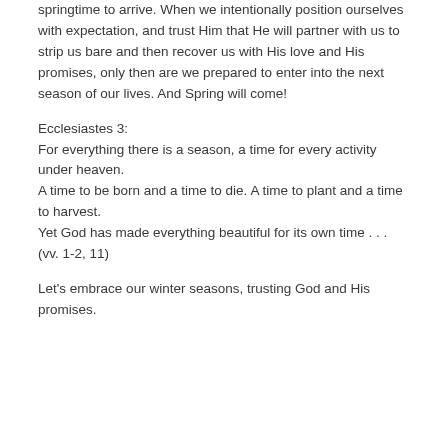springtime to arrive. When we intentionally position ourselves with expectation, and trust Him that He will partner with us to strip us bare and then recover us with His love and His promises, only then are we prepared to enter into the next season of our lives. And Spring will come!
Ecclesiastes 3:
For everything there is a season, a time for every activity under heaven.
A time to be born and a time to die. A time to plant and a time to harvest.
Yet God has made everything beautiful for its own time . . . (vv. 1-2, 11)
Let's embrace our winter seasons, trusting God and His promises.